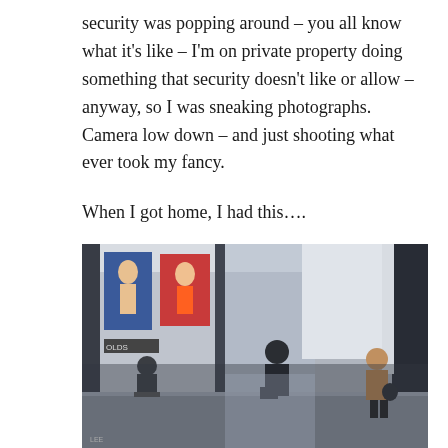security was popping around – you all know what it's like – I'm on private property doing something that security doesn't like or allow – anyway, so I was sneaking photographs. Camera low down – and just shooting what ever took my fancy.

When I got home, I had this....
[Figure (photo): A candid, low-angle photograph taken inside a large shopping mall or atrium. The image shows multiple levels with glass panels and reflections. Several people are visible: a person seated on the left, someone dressed in dark clothes in the middle, and a woman in a light jacket on the right carrying a bag. Colorful advertisement banners are visible on the left wall. The photo has a double-exposure or reflection effect creating overlapping images.]